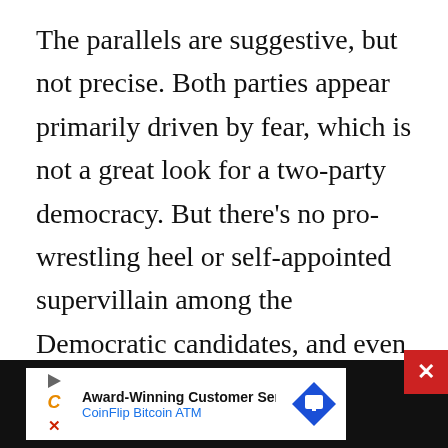The parallels are suggestive, but not precise. Both parties appear primarily driven by fear, which is not a great look for a two-party democracy. But there’s no pro-wrestling heel or self-appointed supervillain among the Democratic candidates, and even at their dimmest and most cynical Democrats do not generally default to vicious, psychotic fantasy. Despite what many conservatives claim to believe, the appetite for a Stalinist terror state or a Cultural Revolution 2.0 within the Democratic Party’s voter coalition is exceedingly small.
Biden’s apparent calculation is that his rhetoric of
[Figure (other): Advertisement banner for CoinFlip Bitcoin ATM with close button. Dark background with white ad area containing play icon, C logo, text 'Award-Winning Customer Service' and 'CoinFlip Bitcoin ATM', and a blue diamond-shaped icon with a road sign.]